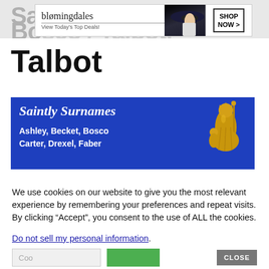Saintly Surnames: Bosco / Talbot
[Figure (other): Bloomingdales advertisement banner: 'View Today's Top Deals!' with SHOP NOW > button and woman in hat image]
Talbot
[Figure (illustration): Saintly Surnames book cover banner on blue background showing title 'Saintly Surnames' with names 'Ashley, Becket, Bosco, Carter, Drexel, Faber' and golden statue of religious figure]
We use cookies on our website to give you the most relevant experience by remembering your preferences and repeat visits. By clicking “Accept”, you consent to the use of ALL the cookies.
Do not sell my personal information.
CLOSE